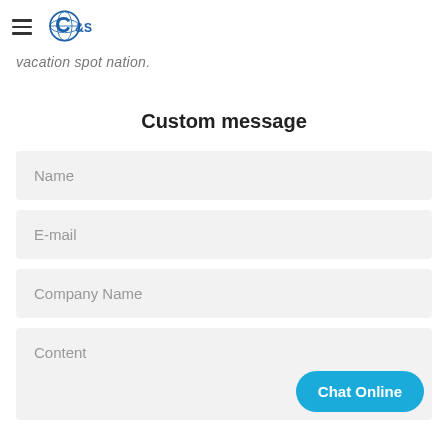C&S logo with hamburger menu
vacation spot nation.
Custom message
Name
E-mail
Company Name
Content
Chat Online